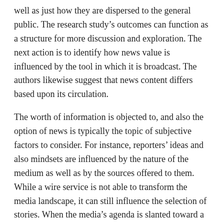well as just how they are dispersed to the general public. The research study's outcomes can function as a structure for more discussion and exploration. The next action is to identify how news value is influenced by the tool in which it is broadcast. The authors likewise suggest that news content differs based upon its circulation.
The worth of information is objected to, and also the option of news is typically the topic of subjective factors to consider. For instance, reporters' ideas and also mindsets are influenced by the nature of the medium as well as by the sources offered to them. While a wire service is not able to transform the media landscape, it can still influence the selection of stories. When the media's agenda is slanted toward a specific subject, the news will be prejudiced. Its function is to notify the general public, and also its target market.